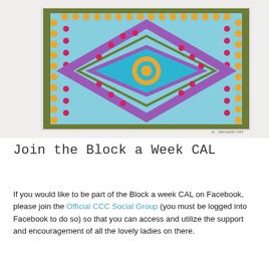[Figure (photo): Close-up photo of a colorful crochet granny square with light blue background, featuring concentric diamond/square patterns in purple, orange/yellow bobbles, hot pink, and olive green border. The square shows intricate crochet texture with a teal/turquoise inner diamond and orange ring center.]
Join the Block a Week CAL
If you would like to be part of the Block a week CAL on Facebook, please join the Official CCC Social Group (you must be logged into Facebook to do so) so that you can access and utilize the support and encouragement of all the lovely ladies on there.